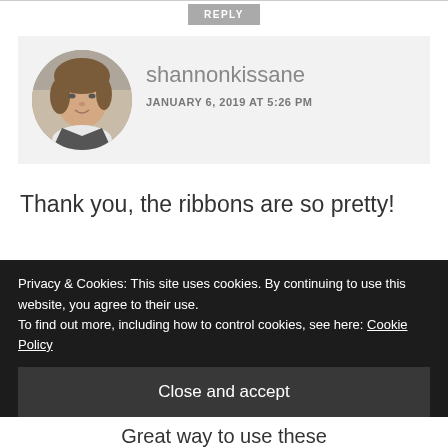REPLY
[Figure (photo): Circular profile photo of a woman with short wavy hair, smiling, in a car]
shannonkissane
JANUARY 6, 2019 AT 5:26 PM
Thank you, the ribbons are so pretty!
★ Like
Privacy & Cookies: This site uses cookies. By continuing to use this website, you agree to their use.
To find out more, including how to control cookies, see here: Cookie Policy
Close and accept
Great way to use these